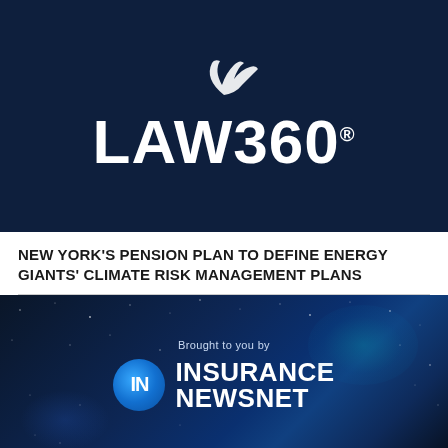[Figure (logo): LAW360 logo on dark navy background with swoosh graphic above the text]
NEW YORK'S PENSION PLAN TO DEFINE ENERGY GIANTS' CLIMATE RISK MANAGEMENT PLANS
[Figure (logo): Insurance NewsNet logo — 'IN' circle badge with text 'INSURANCE NEWSNET' on dark blue starfield background, with 'Brought to you by' text above]